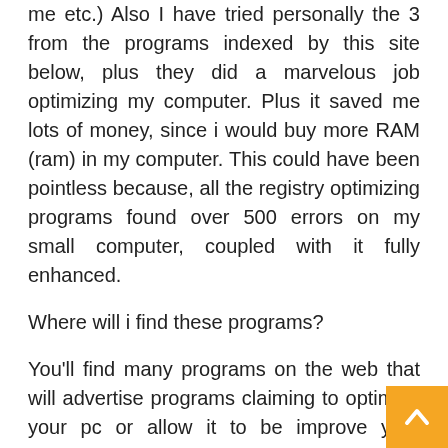me etc.) Also I have tried personally the 3 from the programs indexed by this site below, plus they did a marvelous job optimizing my computer. Plus it saved me lots of money, since i would buy more RAM (ram) in my computer. This could have been pointless because, all the registry optimizing programs found over 500 errors on my small computer, coupled with it fully enhanced.
Where will i find these programs?
You'll find many programs on the web that will advertise programs claiming to optimize your pc or allow it to be improve your speed. If you're prepared to have a risk you'll be able to get these programs. I've purchased many programs on the web and instantly downloaded these to understand that I invested my cash on the herpes virus. I've managed to get simpler that you should uncover the very best
[Figure (other): Orange scroll-to-top button with white upward arrow icon, positioned at bottom-right corner]